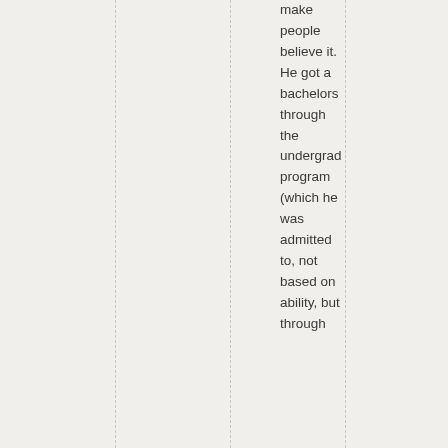make people believe it. He got a bachelors through the undergrad program (which he was admitted to, not based on ability, but through